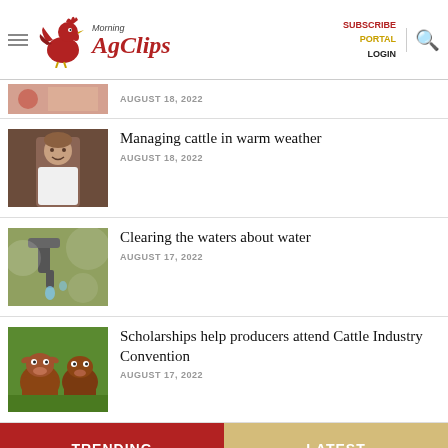Morning AgClips — SUBSCRIBE PORTAL LOGIN
AUGUST 18, 2022
Managing cattle in warm weather
AUGUST 18, 2022
Clearing the waters about water
AUGUST 17, 2022
Scholarships help producers attend Cattle Industry Convention
AUGUST 17, 2022
TRENDING
LATEST